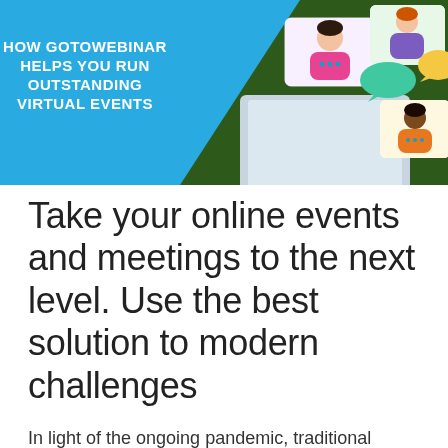[Figure (illustration): Banner with blue diagonal split design on the left showing bold white text 'HOW GOTOWEBINAR HELPS YOU RUN OUTSTANDING VIRTUAL EVENTS', and a dark green background on the right with an illustration of a laptop and floating video call windows showing cartoon people]
Take your online events and meetings to the next level. Use the best solution to modern challenges
In light of the ongoing pandemic, traditional meetings have become nigh-impossible to